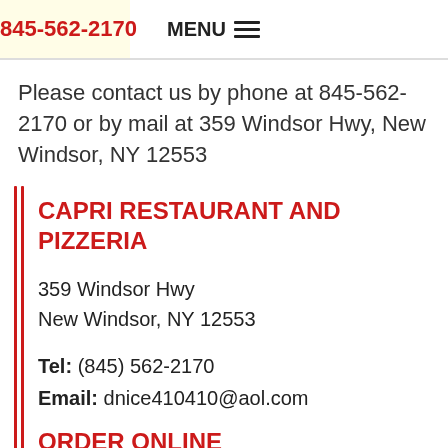845-562-2170  MENU
Please contact us by phone at 845-562-2170 or by mail at 359 Windsor Hwy, New Windsor, NY 12553
CAPRI RESTAURANT AND PIZZERIA
359 Windsor Hwy
New Windsor, NY 12553
Tel: (845) 562-2170
Email: dnice410410@aol.com
ORDER ONLINE